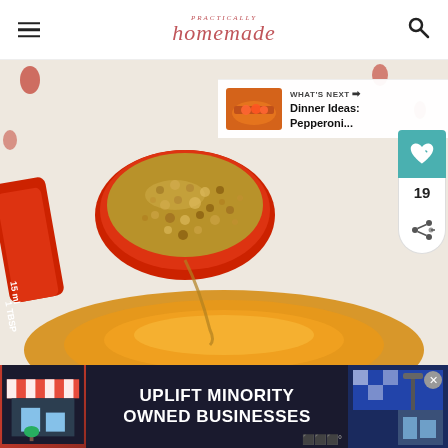Practically Homemade
[Figure (photo): Close-up of a red 1 TBSP measuring spoon filled with whole grain mustard being poured into a bowl of honey or liquid, on a white background with red accents]
[Figure (screenshot): What's Next overlay: thumbnail of pepperoni dish with label 'WHAT'S NEXT → Dinner Ideas: Pepperoni...']
[Figure (infographic): Advertisement banner: 'UPLIFT MINORITY OWNED BUSINESSES' on dark blue background with storefront illustration and close button]